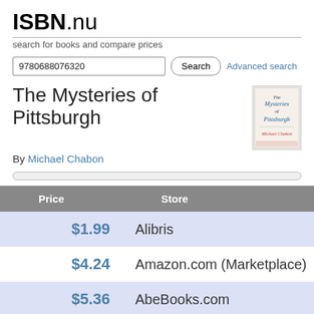ISBN.nu
search for books and compare prices
9780688076320  Search  Advanced search
The Mysteries of Pittsburgh
[Figure (photo): Book cover of The Mysteries of Pittsburgh by Michael Chabon]
By Michael Chabon
| Price | Store |
| --- | --- |
| $1.99 | Alibris |
| $4.24 | Amazon.com (Marketplace) |
| $5.36 | AbeBooks.com |